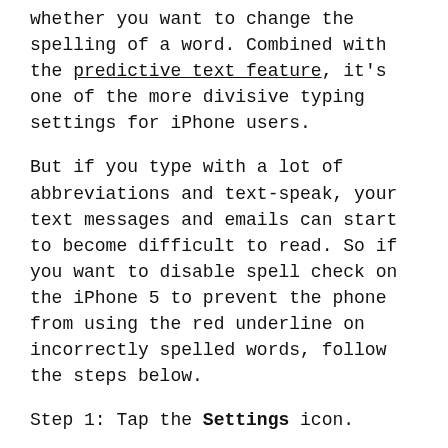whether you want to change the spelling of a word. Combined with the predictive text feature, it's one of the more divisive typing settings for iPhone users.
But if you type with a lot of abbreviations and text-speak, your text messages and emails can start to become difficult to read. So if you want to disable spell check on the iPhone 5 to prevent the phone from using the red underline on incorrectly spelled words, follow the steps below.
Step 1: Tap the Settings icon.